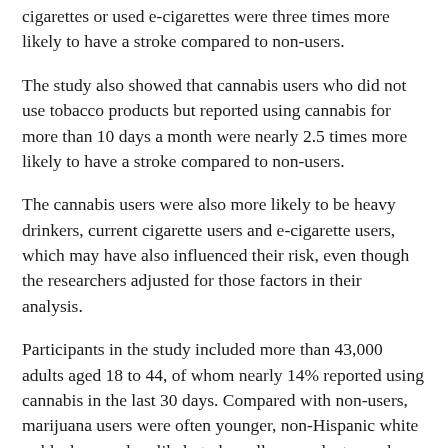cigarettes or used e-cigarettes were three times more likely to have a stroke compared to non-users.
The study also showed that cannabis users who did not use tobacco products but reported using cannabis for more than 10 days a month were nearly 2.5 times more likely to have a stroke compared to non-users.
The cannabis users were also more likely to be heavy drinkers, current cigarette users and e-cigarette users, which may have also influenced their risk, even though the researchers adjusted for those factors in their analysis.
Participants in the study included more than 43,000 adults aged 18 to 44, of whom nearly 14% reported using cannabis in the last 30 days. Compared with non-users, marijuana users were often younger, non-Hispanic white or black, were less likely to be college graduates and were often physically active.
"Young cannabis users, especially those who use tobacco and have other risk factors for strokes, such as high blood pressure, should be aware that they may be at greater risk of having a stroke.